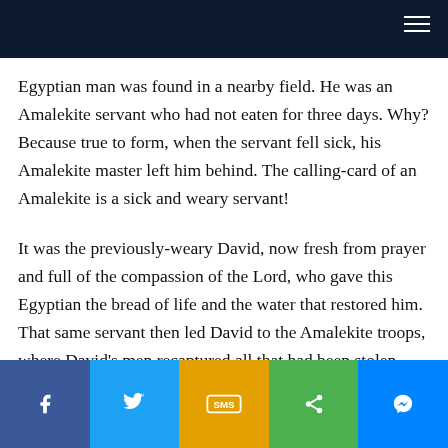Egyptian man was found in a nearby field. He was an Amalekite servant who had not eaten for three days. Why? Because true to form, when the servant fell sick, his Amalekite master left him behind. The calling-card of an Amalekite is a sick and weary servant!
It was the previously-weary David, now fresh from prayer and full of the compassion of the Lord, who gave this Egyptian the bread of life and the water that restored him. That same servant then led David to the Amalekite troops, where David's men recaptured all that had been stolen.
Facebook | Twitter | SMS | Share | Messenger